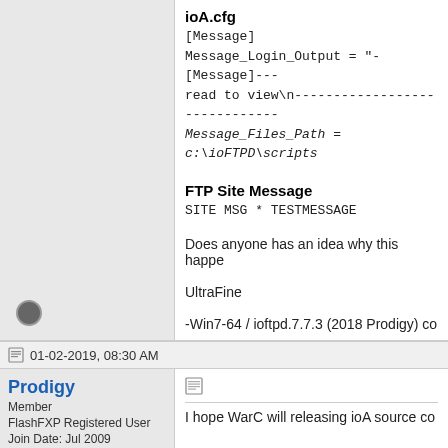ioA.cfg
[Message]
Message_Login_Output = "-[Message]---
read to view\n------------------------------------------
Message_Files_Path = c:\ioFTPD\scripts
FTP Site Message
SITE MSG * TESTMESSAGE
Does anyone has an idea why this happe
UltraFine
-Win7-64 / ioftpd.7.7.3 (2018 Prodigy) co
01-02-2019, 08:30 AM
Prodigy
Member
FlashFXP Registered User
Join Date: Jul 2009
I hope WarC will releasing ioA source co